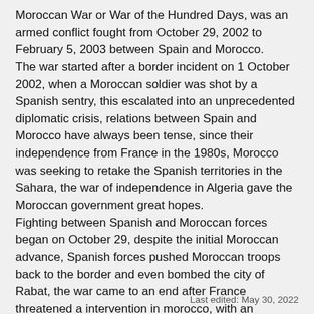Moroccan War or War of the Hundred Days, was an armed conflict fought from October 29, 2002 to February 5, 2003 between Spain and Morocco.
The war started after a border incident on 1 October 2002, when a Moroccan soldier was shot by a Spanish sentry, this escalated into an unprecedented diplomatic crisis, relations between Spain and Morocco have always been tense, since their independence from France in the 1980s, Morocco was seeking to retake the Spanish territories in the Sahara, the war of independence in Algeria gave the Moroccan government great hopes.
Fighting between Spanish and Moroccan forces began on October 29, despite the initial Moroccan advance, Spanish forces pushed Moroccan troops back to the border and even bombed the city of Rabat, the war came to an end after France threatened a intervention in morocco, with an armistice being signed on 5 February 2003.
After the end of the conflict, the Status Quo Ante Bellum was declared, which remains until the present day.
Last edited: May 30, 2022